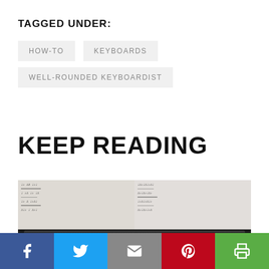TAGGED UNDER:
HOW-TO
KEYBOARDS
WELL-ROUNDED KEYBOARDIST
KEEP READING
[Figure (photo): Sheet music on a piano stand with a black upright piano in the foreground]
[Figure (infographic): Social sharing bar with Facebook, Twitter, Email, Pinterest, and Print buttons]